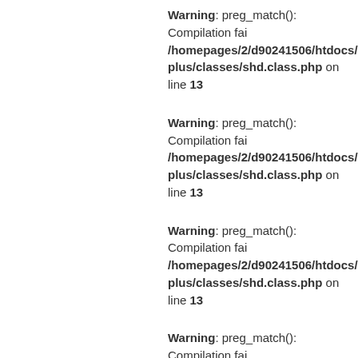Warning: preg_match(): Compilation fai /homepages/2/d90241506/htdocs/colc plus/classes/shd.class.php on line 13
Warning: preg_match(): Compilation fai /homepages/2/d90241506/htdocs/colc plus/classes/shd.class.php on line 13
Warning: preg_match(): Compilation fai /homepages/2/d90241506/htdocs/colc plus/classes/shd.class.php on line 13
Warning: preg_match(): Compilation fai /homepages/2/d90241506/htdocs/colc plus/classes/shd.class.php on line 13
Warning: preg_match(): Compilation fai /homepages/2/d90241506/htdocs/colc plus/classes/shd.class.php on line 13